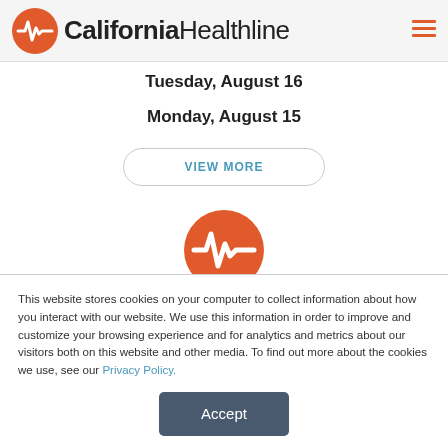California Healthline
Tuesday, August 16
Monday, August 15
VIEW MORE
[Figure (logo): California Healthline orange circle logo with heartbeat waveform]
This website stores cookies on your computer to collect information about how you interact with our website. We use this information in order to improve and customize your browsing experience and for analytics and metrics about our visitors both on this website and other media. To find out more about the cookies we use, see our Privacy Policy.
Accept